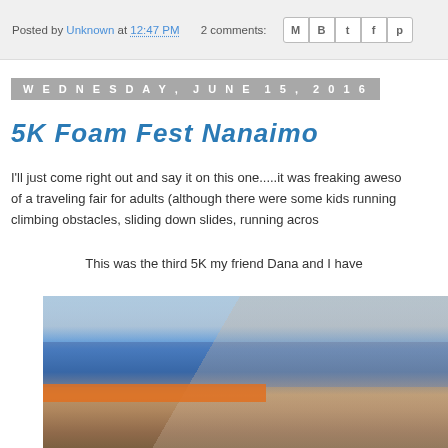Posted by Unknown at 12:47 PM   2 comments:
Wednesday, June 15, 2016
5K Foam Fest Nanaimo
I'll just come right out and say it on this one.....it was freaking aweso of a traveling fair for adults (although there were some kids running climbing obstacles, sliding down slides, running acros
This was the third 5K my friend Dana and I have
[Figure (photo): Photo of a person at the 5K Foam Fest Nanaimo event, with a blue garment and orange banner visible in the background]